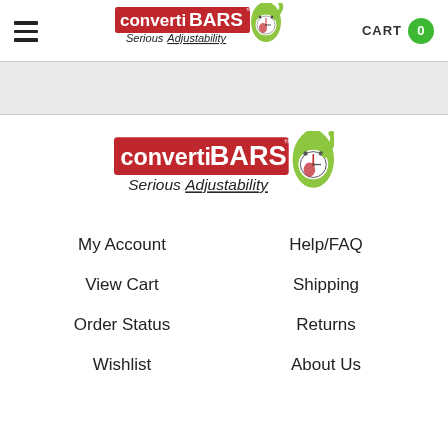[Figure (logo): ConvertiBars logo with mascot and text 'Serious Adjustability' in header]
CART 0
[Figure (logo): ConvertiBars logo centered with mascot and text 'Serious Adjustability']
My Account
Help/FAQ
View Cart
Shipping
Order Status
Returns
Wishlist
About Us